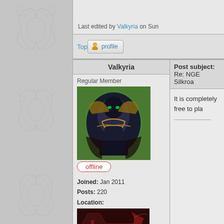[Figure (illustration): Left sidebar with decorative grey ornamental/floral pattern]
Last edited by Valkyria on Sun
Top
[Figure (other): Profile button with user icon]
Valkyria
Post subject: Re: NGE Silkroa
Regular Member
[Figure (illustration): Avatar image of an anime/game character in black and gold armor with green background]
offline
Joined: Jan 2011
Posts: 220
Location:
[Figure (logo): SRO (Silkroad Online) logo in dark red/maroon with sword graphic]
It is completely free to pla